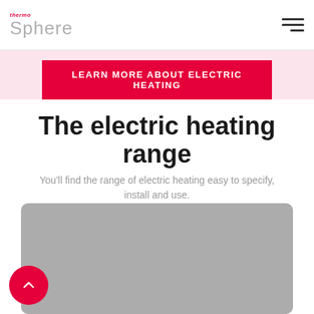thermo Sphere
LEARN MORE ABOUT ELECTRIC HEATING
The electric heating range
You'll find the range of electric heating easy to specify, install and use.
[Figure (photo): Grey placeholder image area showing product/content image]